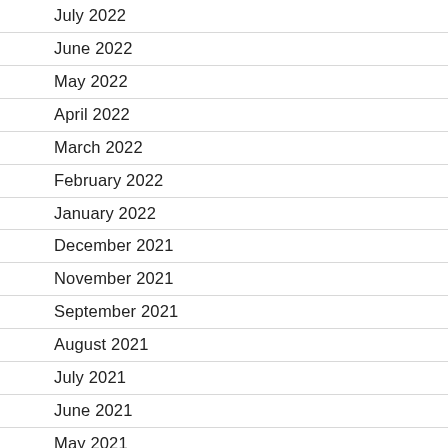July 2022
June 2022
May 2022
April 2022
March 2022
February 2022
January 2022
December 2021
November 2021
September 2021
August 2021
July 2021
June 2021
May 2021
April 2021
March 2021
February 2021
January 2021